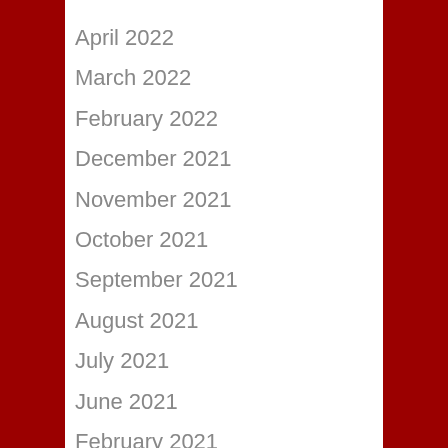April 2022
March 2022
February 2022
December 2021
November 2021
October 2021
September 2021
August 2021
July 2021
June 2021
February 2021
January 2021